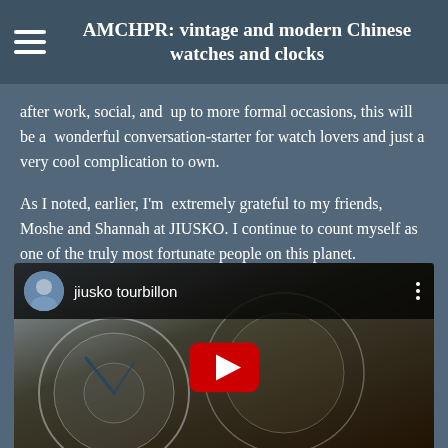AMCHPR: vintage and modern Chinese watches and clocks
after work, social, and  up to more formal occasions, this will be a  wonderful conversation-starter for watch lovers and just a very cool complication to own.
As I noted, earlier, I'm  extremely grateful to my friends, Moshe and Shannah at JIUSKO. I continue to count myself as one of the truly most fortunate people on this planet.
[Figure (screenshot): YouTube video thumbnail showing a tourbillon watch mechanism with clock faces visible. Video title reads 'jiusko tourbillon'. Has a YouTube play button overlay and a user avatar in top left.]